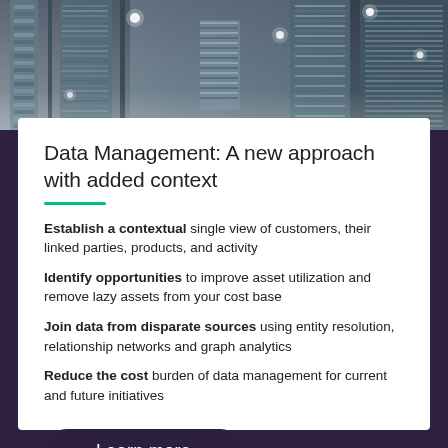[Figure (photo): Dark server room / data center corridor with glowing lights and rack equipment]
Data Management: A new approach with added context
Establish a contextual single view of customers, their linked parties, products, and activity
Identify opportunities to improve asset utilization and remove lazy assets from your cost base
Join data from disparate sources using entity resolution, relationship networks and graph analytics
Reduce the cost burden of data management for current and future initiatives
Learn more